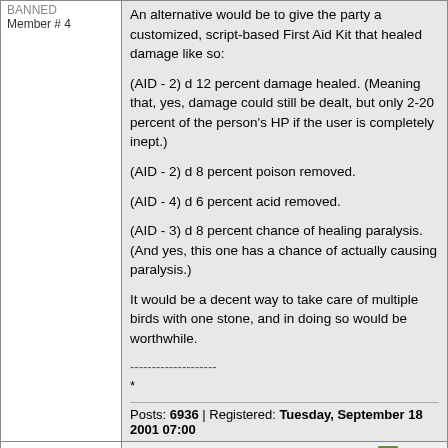BANNED
Member # 4
An alternative would be to give the party a customized, script-based First Aid Kit that healed damage like so:

(AID - 2) d 12 percent damage healed. (Meaning that, yes, damage could still be dealt, but only 2-20 percent of the person's HP if the user is completely inept.)

(AID - 2) d 8 percent poison removed.

(AID - 4) d 6 percent acid removed.

(AID - 3) d 8 percent chance of healing paralysis. (And yes, this one has a chance of actually causing paralysis.)

It would be a decent way to take care of multiple birds with one stone, and in doing so would be worthwhile.

--------------------
*
Posts: 6936 | Registered: Tuesday, September 18 2001 07:00
Garrison
Agent
Member # 2820
written Sunday, February 20 2005 14:32
#9
You could have really nice first aid kits that